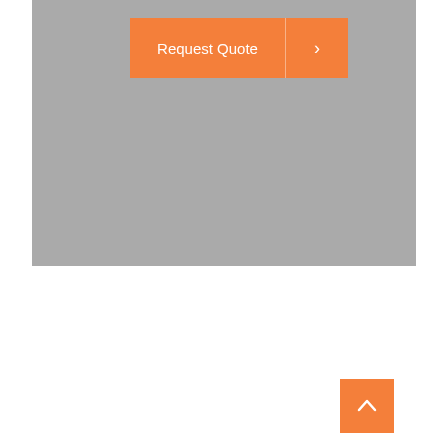[Figure (screenshot): Gray banner area with an orange 'Request Quote' button with a right-arrow chevron button beside it]
[Figure (other): Orange square back-to-top button with an upward chevron arrow in white]